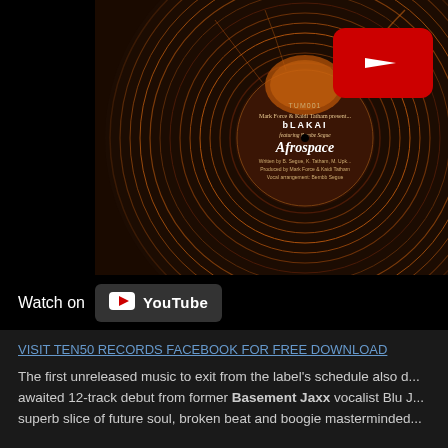[Figure (screenshot): YouTube video thumbnail showing a vinyl record label for 'Afrospace' by bLAKAI featuring Bombe Segue, Mark Force & Kaidi Tatham present. Text on label: TUM001, Written by B. Segue, K. Tatham, M. Upk..., Produced by Mark Force & Kaidi Tatham, Vocal arrangement: Bembb Segue. A red YouTube play button overlay is visible in the top right of the record. A 'Watch on YouTube' bar appears at the bottom.]
VISIT TEN50 RECORDS FACEBOOK FOR FREE DOWNLOAD
The first unreleased music to exit from the label's schedule also d... awaited 12-track debut from former Basement Jaxx vocalist Blu J... superb slice of future soul, broken beat and boogie masterminded...